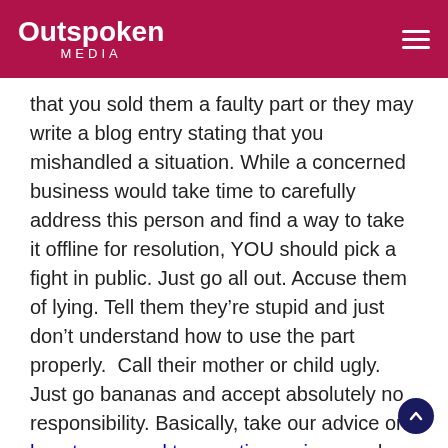Outspoken MEDIA
that you sold them a faulty part or they may write a blog entry stating that you mishandled a situation. While a concerned business would take time to carefully address this person and find a way to take it offline for resolution, YOU should pick a fight in public. Just go all out. Accuse them of lying. Tell them they're stupid and just don't understand how to use the part properly.  Call their mother or child ugly. Just go bananas and accept absolutely no responsibility. Basically, take our advice on how to respond to negative reviews and comments and just flip it. Have a ball.
Fight them. On Everything: It doesn't matter if you're right. All that matters is that your customer is wrong. Show zero empathy when dealing with